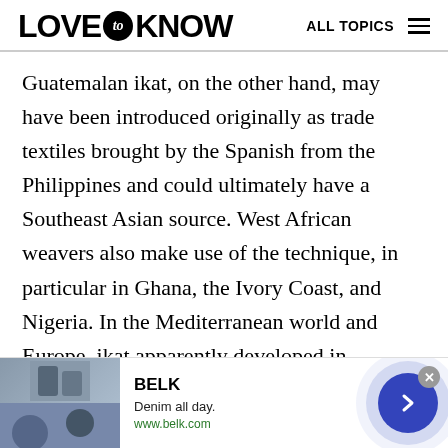LOVE to KNOW   ALL TOPICS
Guatemalan ikat, on the other hand, may have been introduced originally as trade textiles brought by the Spanish from the Philippines and could ultimately have a Southeast Asian source. West African weavers also make use of the technique, in particular in Ghana, the Ivory Coast, and Nigeria. In the Mediterranean world and Europe, ikat apparently developed in response to Islamic textiles; it first appeared in Italy in the seventeenth century as an influence from warp-ikat striped
[Figure (other): Advertisement banner for BELK: 'Denim all day. www.belk.com' with fashion imagery, blue arrow button, and close (x) button]